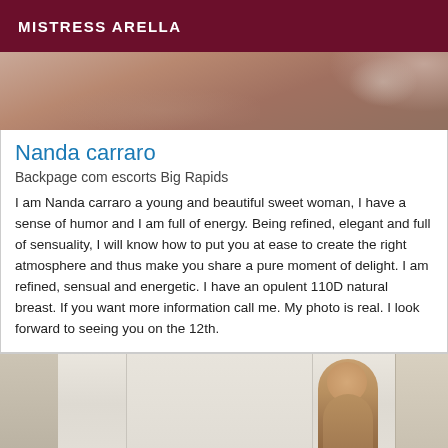MISTRESS ARELLA
[Figure (photo): Partial photo of a woman, cropped showing upper body with lace details, skin tones visible]
Nanda carraro
Backpage com escorts Big Rapids
I am Nanda carraro a young and beautiful sweet woman, I have a sense of humor and I am full of energy. Being refined, elegant and full of sensuality, I will know how to put you at ease to create the right atmosphere and thus make you share a pure moment of delight. I am refined, sensual and energetic. I have an opulent 110D natural breast. If you want more information call me. My photo is real. I look forward to seeing you on the 12th.
[Figure (photo): Photo of a red-haired woman standing indoors near windows with curtains, bottom portion of page]